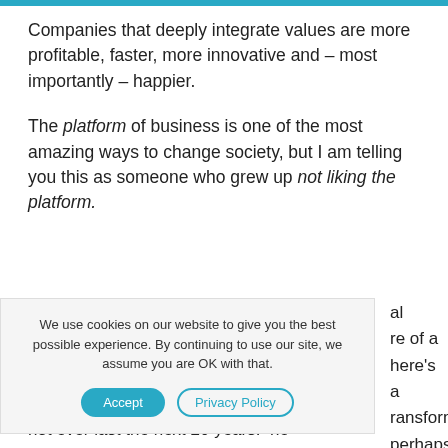Companies that deeply integrate values are more profitable, faster, more innovative and – most importantly – happier.
The platform of business is one of the most amazing ways to change society, but I am telling you this as someone who grew up not liking the platform.
We use cookies on our website to give you the best possible experience. By continuing to use our site, we assume you are OK with that.
al re of a here's a ransform. perhaps not ever last the next 20 years. he